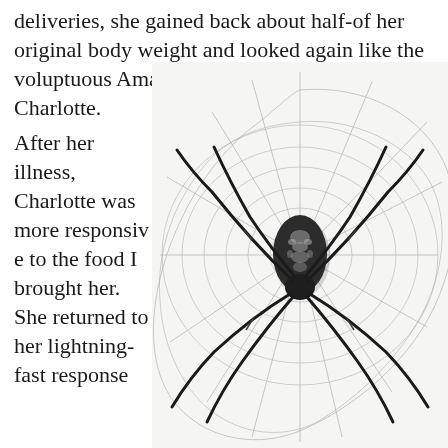deliveries, she gained back about half-of her original body weight and looked again like the voluptuous Amazon I'd first beheld. My Charlotte.
[Figure (illustration): Pen-and-ink drawing of a large spider (Argiope species) centered on a spiral orb web against a white background. The spider has a patterned abdomen and long black legs. The web radiates outward with concentric spiral threads.]
After her illness, Charlotte was more responsive to the food I brought her. She returned to her lightning-fast response